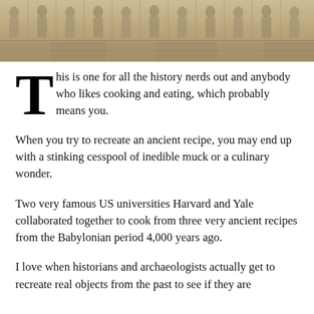[Figure (photo): Stone relief carving showing ancient figures in a row, appearing to be a Babylonian or Assyrian frieze with carved stone blocks]
This is one for all the history nerds out and anybody who likes cooking and eating, which probably means you.
When you try to recreate an ancient recipe, you may end up with a stinking cesspool of inedible muck or a culinary wonder.
Two very famous US universities Harvard and Yale collaborated together to cook from three very ancient recipes from the Babylonian period 4,000 years ago.
I love when historians and archaeologists actually get to recreate real objects from the past to see if they are